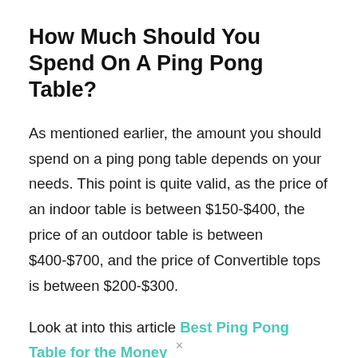How Much Should You Spend On A Ping Pong Table?
As mentioned earlier, the amount you should spend on a ping pong table depends on your needs. This point is quite valid, as the price of an indoor table is between $150-$400, the price of an outdoor table is between $400-$700, and the price of Convertible tops is between $200-$300.
Look at into this article Best Ping Pong Table for the Money